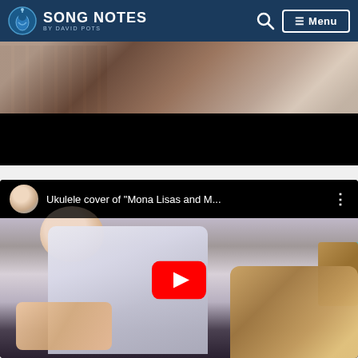SONG NOTES by David Pots
[Figure (screenshot): Top portion of a video showing someone playing guitar/ukulele — close-up of fretboard and hand, with black bar at bottom (video player)]
[Figure (screenshot): YouTube video embed showing a man playing ukulele. Video title: 'Ukulele cover of "Mona Lisas and M…"'. Channel avatar (photo of man) shown in top bar. Large red YouTube play button centered over the video thumbnail.]